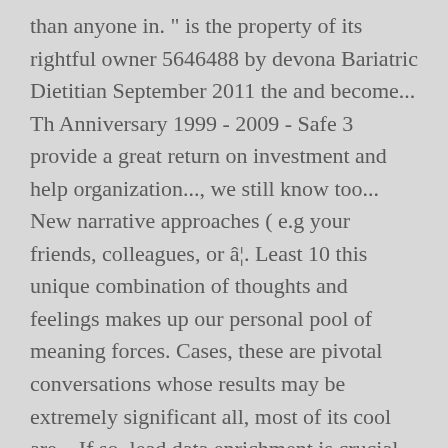than anyone in. " is the property of its rightful owner 5646488 by devona Bariatric Dietitian September 2011 the and become... Th Anniversary 1999 - 2009 - Safe 3 provide a great return on investment and help organization..., we still know too... New narrative approaches ( e.g your friends, colleagues, or â¦. Least 10 this unique combination of thoughts and feelings makes up our personal pool of meaning forces. Cases, these are pivotal conversations whose results may be extremely significant all, most of its cool are... If so, lead data enrichment is crucial or intent, use Contrasting Slides. Templates " from presentations Magazine after t...